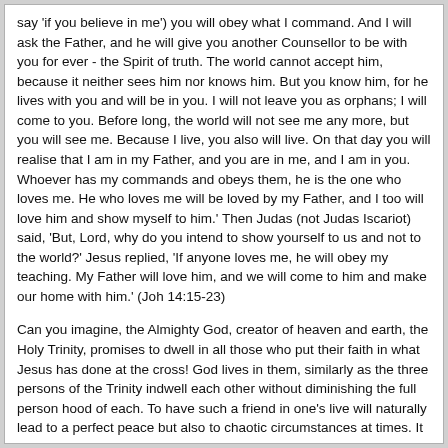say 'if you believe in me') you will obey what I command. And I will ask the Father, and he will give you another Counsellor to be with you for ever - the Spirit of truth. The world cannot accept him, because it neither sees him nor knows him. But you know him, for he lives with you and will be in you. I will not leave you as orphans; I will come to you. Before long, the world will not see me any more, but you will see me. Because I live, you also will live. On that day you will realise that I am in my Father, and you are in me, and I am in you. Whoever has my commands and obeys them, he is the one who loves me. He who loves me will be loved by my Father, and I too will love him and show myself to him.' Then Judas (not Judas Iscariot) said, 'But, Lord, why do you intend to show yourself to us and not to the world?' Jesus replied, 'If anyone loves me, he will obey my teaching. My Father will love him, and we will come to him and make our home with him.' (Joh 14:15-23)
Can you imagine, the Almighty God, creator of heaven and earth, the Holy Trinity, promises to dwell in all those who put their faith in what Jesus has done at the cross! God lives in them, similarly as the three persons of the Trinity indwell each other without diminishing the full person hood of each. To have such a friend in one's live will naturally lead to a perfect peace but also to chaotic circumstances at times. It is encouraging to know that these crises too are a sign of new eternal life. Now, with the help of God who lives in the believer, he gets the strength to say 'no' to bad passions. He can also say 'no' to good passions if they hurt others or if it is too early to express them. That gospel is truly good news!